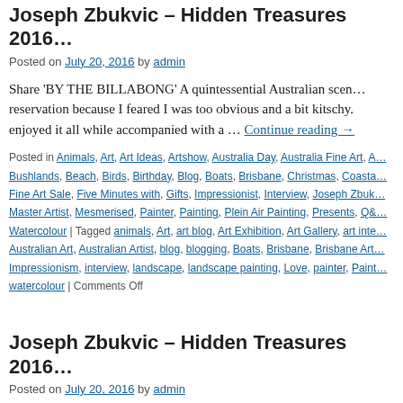Joseph Zbukvic – Hidden Treasures 2016…
Posted on July 20, 2016 by admin
Share 'BY THE BILLABONG' A quintessential Australian scen… reservation because I feared I was too obvious and a bit kitschy. enjoyed it all while accompanied with a … Continue reading →
Posted in Animals, Art, Art Ideas, Artshow, Australia Day, Australia Fine Art, A… Bushlands, Beach, Birds, Birthday, Blog, Boats, Brisbane, Christmas, Coasta… Fine Art Sale, Five Minutes with, Gifts, Impressionist, Interview, Joseph Zbuk… Master Artist, Mesmerised, Painter, Painting, Plein Air Painting, Presents, Q& Watercolour | Tagged animals, Art, art blog, Art Exhibition, Art Gallery, art inte… Australian Art, Australian Artist, blog, blogging, Boats, Brisbane, Brisbane Art,… Impressionism, interview, landscape, landscape painting, Love, painter, Paint… watercolour | Comments Off
Joseph Zbukvic – Hidden Treasures 2016…
Posted on July 20, 2016 by admin
Share 'PARIS REFLECTIONS' I visit Paris every year and alwa… Latin Quarter near Boulevard St Michelle. My room offers a gre… in comfort if it's raining or I … Continue reading →